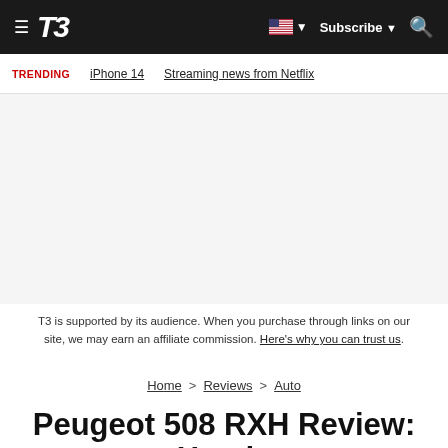T3 — Subscribe
TRENDING   iPhone 14   Streaming news from Netflix
[Figure (other): Advertisement / blank area]
T3 is supported by its audience. When you purchase through links on our site, we may earn an affiliate commission. Here's why you can trust us.
Home > Reviews > Auto
Peugeot 508 RXH Review: Hands